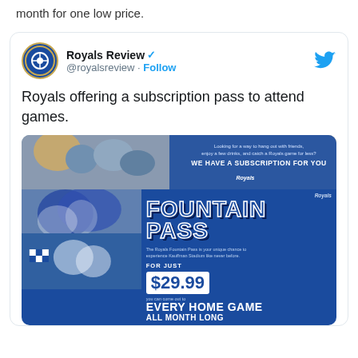month for one low price.
[Figure (screenshot): Tweet from @royalsreview account showing a Royals Fountain Pass subscription advertisement. The tweet reads: 'Royals offering a subscription pass to attend games.' The embedded image shows a blue Kansas City Royals promotional poster for the 'FOUNTAIN PASS' subscription at $29.99 per month, allowing attendance to every home game all month long.]